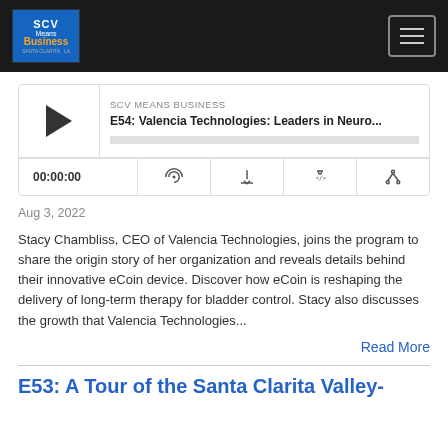SCV Means Business
[Figure (screenshot): Podcast player widget for E54: Valencia Technologies: Leaders in Neuro... with play button, time 00:00:00, and controls for RSS, download, embed, share]
Aug 3, 2022
Stacy Chambliss, CEO of Valencia Technologies, joins the program to share the origin story of her organization and reveals details behind their innovative eCoin device. Discover how eCoin is reshaping the delivery of long-term therapy for bladder control. Stacy also discusses the growth that Valencia Technologies...
Read More
E53: A Tour of the Santa Clarita Valley-